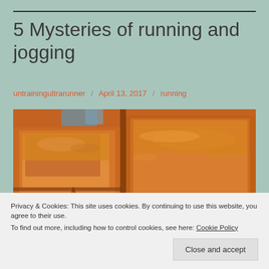5 Mysteries of running and jogging
untrainingultrarunner / April 13, 2017 / running
[Figure (photo): Close-up photo of baked goods (brownies or cake slices) with golden-brown caramelized tops on a plate]
Privacy & Cookies: This site uses cookies. By continuing to use this website, you agree to their use.
To find out more, including how to control cookies, see here: Cookie Policy
Close and accept